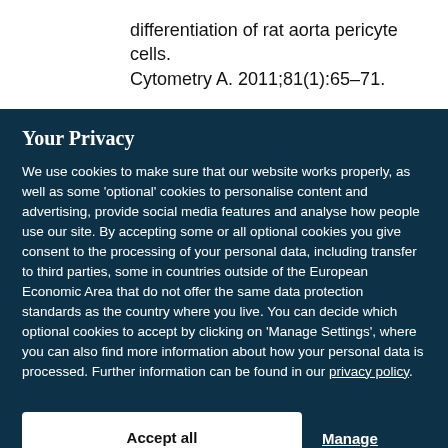differentiation of rat aorta pericyte cells. Cytometry A. 2011;81(1):65–71.
Your Privacy
We use cookies to make sure that our website works properly, as well as some 'optional' cookies to personalise content and advertising, provide social media features and analyse how people use our site. By accepting some or all optional cookies you give consent to the processing of your personal data, including transfer to third parties, some in countries outside of the European Economic Area that do not offer the same data protection standards as the country where you live. You can decide which optional cookies to accept by clicking on 'Manage Settings', where you can also find more information about how your personal data is processed. Further information can be found in our privacy policy.
Accept all cookies
Manage preferences